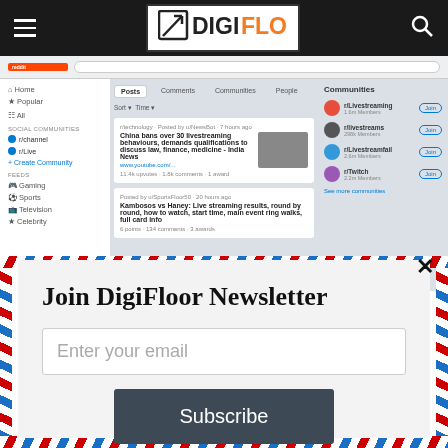[Figure (screenshot): DigiFloor website header with black navigation bar showing hamburger menu, DigiFloor logo, and search icon]
[Figure (screenshot): Reddit-like interface screenshot showing sidebar navigation, post listings about livestreaming, and communities panel on the right]
Join DigiFloor Newsletter
Enter your email
Subscribe
powered by MailMunch